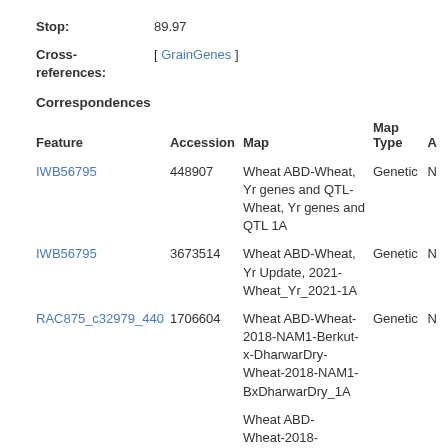Stop: 89.97
Cross-references: [ GrainGenes ]
Correspondences
| Feature | Accession | Map | Map Type | A |
| --- | --- | --- | --- | --- |
| IWB56795 | 448907 | Wheat ABD-Wheat, Yr genes and QTL-Wheat, Yr genes and QTL 1A | Genetic | N |
| IWB56795 | 3673514 | Wheat ABD-Wheat, Yr Update, 2021-Wheat_Yr_2021-1A | Genetic | N |
| RAC875_c32979_440 | 1706604 | Wheat ABD-Wheat-2018-NAM1-Berkut-x-DharwarDry-Wheat-2018-NAM1-BxDharwarDry_1A | Genetic | N |
|  |  | Wheat ABD-Wheat-2018-... |  |  |